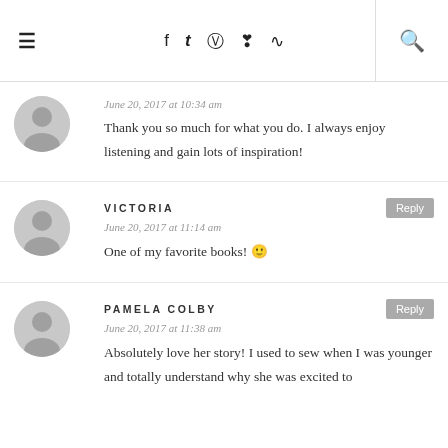≡  f  t  IG  Pinterest  RSS  🔍
June 20, 2017 at 10:34 am
Thank you so much for what you do. I always enjoy listening and gain lots of inspiration!
VICTORIA
June 20, 2017 at 11:14 am
One of my favorite books! 🙂
PAMELA COLBY
June 20, 2017 at 11:38 am
Absolutely love her story! I used to sew when I was younger and totally understand why she was excited to